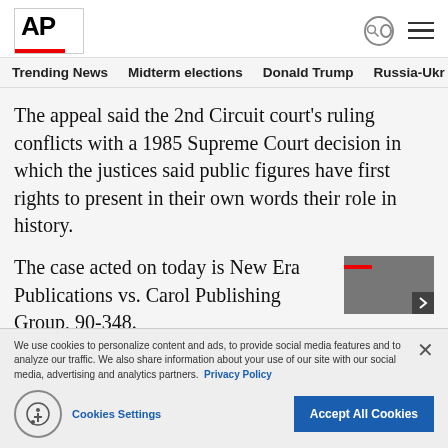AP
Trending News   Midterm elections   Donald Trump   Russia-Ukr
The appeal said the 2nd Circuit court’s ruling conflicts with a 1985 Supreme Court decision in which the justices said public figures have first rights to present in their own words their role in history.
The case acted on today is New Era Publications vs. Carol Publishing Group, 90-348.
[Figure (photo): Thumbnail image partially visible on the right side]
We use cookies to personalize content and ads, to provide social media features and to analyze our traffic. We also share information about your use of our site with our social media, advertising and analytics partners. Privacy Policy
Cookies Settings   Accept All Cookies